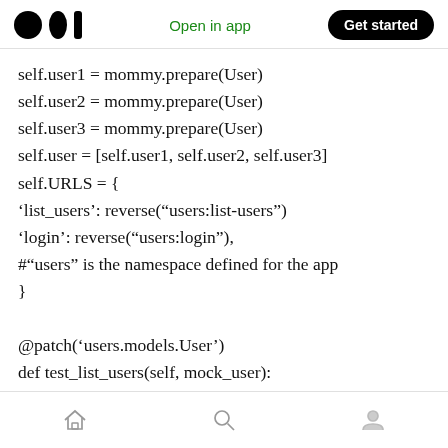Medium logo | Open in app | Get started
self.user1 = mommy.prepare(User)
self.user2 = mommy.prepare(User)
self.user3 = mommy.prepare(User)
self.user = [self.user1, self.user2, self.user3]
self.URLS = {
'list_users': reverse(“users:list-users”)
'login': reverse(“users:login”),
#“users” is the namespace defined for the app
}

@patch('users.models.User')
def test_list_users(self, mock_user):
Home | Search | Profile